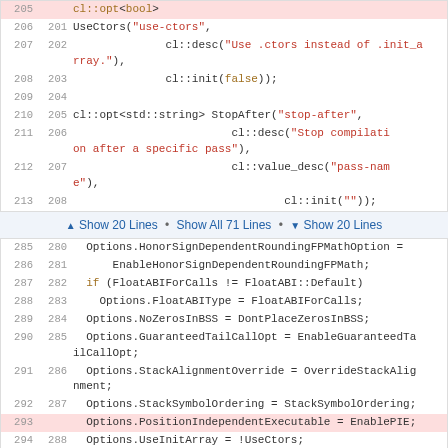[Figure (screenshot): Code diff viewer showing C++ source code with line numbers. Top section lines 205-213, middle divider with show lines links, bottom section lines 285-295. Lines 205 and 293 are highlighted in pink/red.]